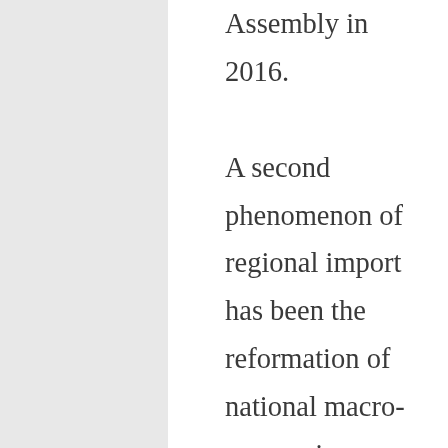Assembly in 2016. A second phenomenon of regional import has been the reformation of national macro-economic practices due to the negative experiences of Latin American nations during the 1970s and 1980s. The policies that were enacted related to a set of 10 described by the economist John Williamson as the